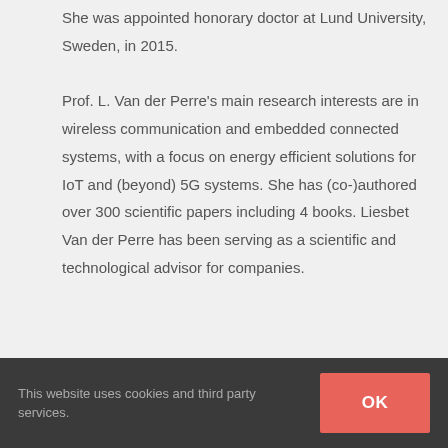She was appointed honorary doctor at Lund University, Sweden, in 2015.

Prof. L. Van der Perre's main research interests are in wireless communication and embedded connected systems, with a focus on energy efficient solutions for IoT and (beyond) 5G systems. She has (co-)authored over 300 scientific papers including 4 books. Liesbet Van der Perre has been serving as a scientific and technological advisor for companies.
This website uses cookies and third party services.